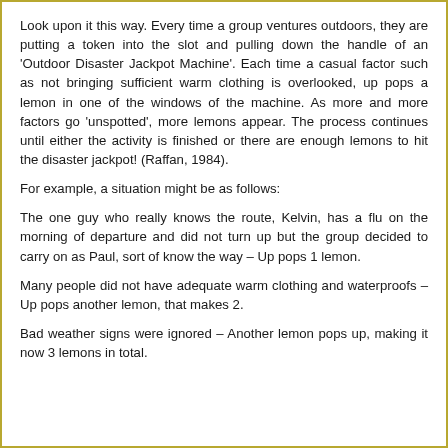Look upon it this way. Every time a group ventures outdoors, they are putting a token into the slot and pulling down the handle of an 'Outdoor Disaster Jackpot Machine'. Each time a casual factor such as not bringing sufficient warm clothing is overlooked, up pops a lemon in one of the windows of the machine. As more and more factors go 'unspotted', more lemons appear. The process continues until either the activity is finished or there are enough lemons to hit the disaster jackpot! (Raffan, 1984).
For example, a situation might be as follows:
The one guy who really knows the route, Kelvin, has a flu on the morning of departure and did not turn up but the group decided to carry on as Paul, sort of know the way – Up pops 1 lemon.
Many people did not have adequate warm clothing and waterproofs – Up pops another lemon, that makes 2.
Bad weather signs were ignored – Another lemon pops up, making it now 3 lemons in total.